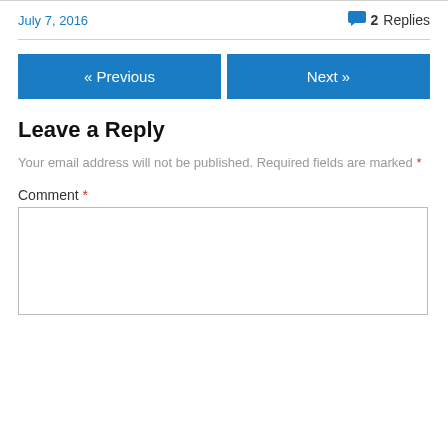July 7, 2016
2 Replies
« Previous
Next »
Leave a Reply
Your email address will not be published. Required fields are marked *
Comment *